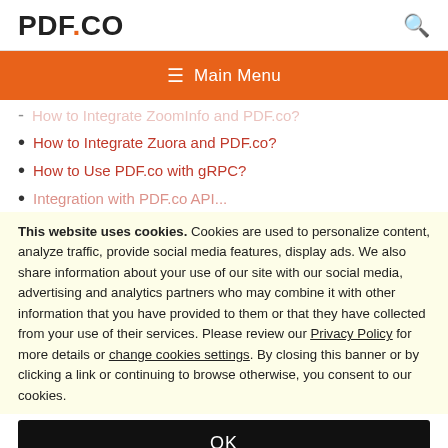PDF.CO
[Figure (other): Orange navigation bar with hamburger menu icon and 'Main Menu' text]
How to Integrate ZoomInfo and PDF.co? (partially visible)
How to Integrate Zuora and PDF.co?
How to Use PDF.co with gRPC?
Integration with PDF.co API (partially visible)
This website uses cookies. Cookies are used to personalize content, analyze traffic, provide social media features, display ads. We also share information about your use of our site with our social media, advertising and analytics partners who may combine it with other information that you have provided to them or that they have collected from your use of their services. Please review our Privacy Policy for more details or change cookies settings. By closing this banner or by clicking a link or continuing to browse otherwise, you consent to our cookies.
OK